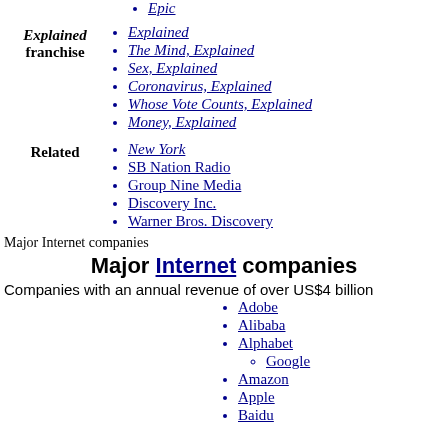Epic
Explained franchise
Explained
The Mind, Explained
Sex, Explained
Coronavirus, Explained
Whose Vote Counts, Explained
Money, Explained
Related
New York
SB Nation Radio
Group Nine Media
Discovery Inc.
Warner Bros. Discovery
Major Internet companies
Major Internet companies
Companies with an annual revenue of over US$4 billion
Adobe
Alibaba
Alphabet
Google
Amazon
Apple
Baidu